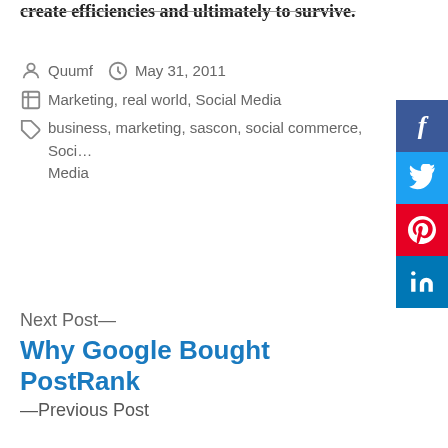create efficiencies and ultimately to survive.
Quumf   May 31, 2011
Marketing, real world, Social Media
business, marketing, sascon, social commerce, Social Media
[Figure (infographic): Social sharing sidebar with Facebook (blue), Twitter (light blue), Pinterest (red), and LinkedIn (blue) buttons]
Next Post—
Why Google Bought PostRank
—Previous Post